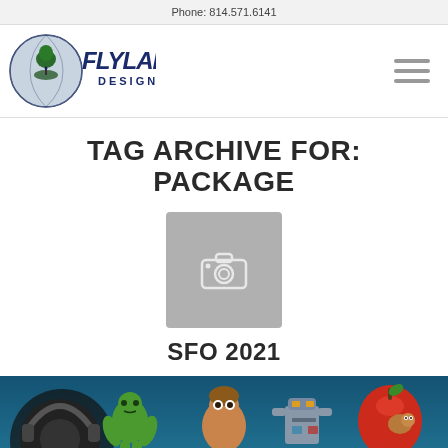Phone: 814.571.6141
[Figure (logo): Flyland Designs logo — circular globe with tree and figure, stylized text 'FLYLAND DESIGNS']
TAG ARCHIVE FOR: PACKAGE
[Figure (photo): Gray placeholder image with camera icon]
SFO 2021
[Figure (illustration): Colorful cartoon illustration showing animated characters including a green hulk-like figure, a robot, a boy, and a red apple with a worm, on a blue background]